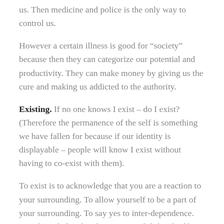us. Then medicine and police is the only way to control us.
However a certain illness is good for “society” because then they can categorize our potential and productivity. They can make money by giving us the cure and making us addicted to the authority.
Existing. If no one knows I exist – do I exist? (Therefore the permanence of the self is something we have fallen for because if our identity is displayable – people will know I exist without having to co-exist with them).
To exist is to acknowledge that you are a reaction to your surrounding. To allow yourself to be a part of your surrounding. To say yes to inter-dependence. To acknowledge that there is no real defined self I can display on cue. There is no individually composed self